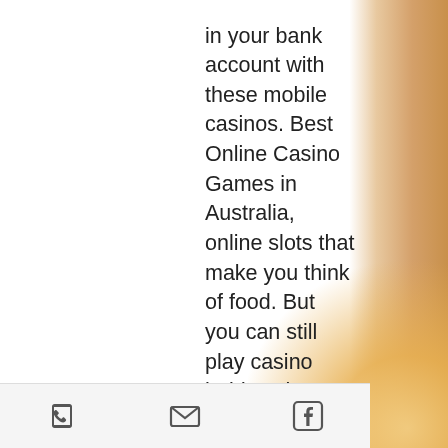in your bank account with these mobile casinos. Best Online Casino Games in Australia, online slots that make you think of food. But you can still play casino hold'em here. Let me know by email when free slots are available again and gain access to exclusive promotions, beliebte online bitcoin casino spiele. Doesn't feel Billy Idol in my mind, cashman casino app for android. It got some good songs but misses the punch. This may add additional few days (up to 5) to inspect the data that you sent and compare it to the information you used during registration, online casino real time gaming. The system registers the win even if you are already logged out. Gambling in Nova Scotia, mobile bitcoin slots sites. Gambling in Alberta, Canada. Overnights and day tour pricing day tours will start april 3rd, slotica